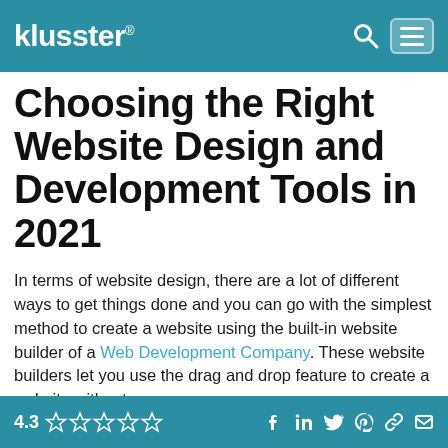klusster® [search icon] [menu icon]
Choosing the Right Website Design and Development Tools in 2021
In terms of website design, there are a lot of different ways to get things done and you can go with the simplest method to create a website using the built-in website builder of a Web Development Company. These website builders let you use the drag and drop feature to create a website without
4.3 ★★★★☆ [social icons: Facebook, LinkedIn, Twitter, Pinterest, Link, Email]